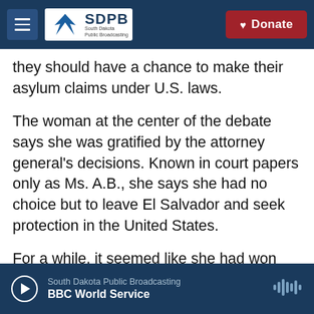SDPB South Dakota Public Broadcasting | Donate
they should have a chance to make their asylum claims under U.S. laws.
The woman at the center of the debate says she was gratified by the attorney general's decisions. Known in court papers only as Ms. A.B., she says she had no choice but to leave El Salvador and seek protection in the United States.
For a while, it seemed like she had won her asylum case — until Sessions intervened, using her case to set a precedent that implemented new restrictions.
"I feel content and happy that my case can help
South Dakota Public Broadcasting | BBC World Service